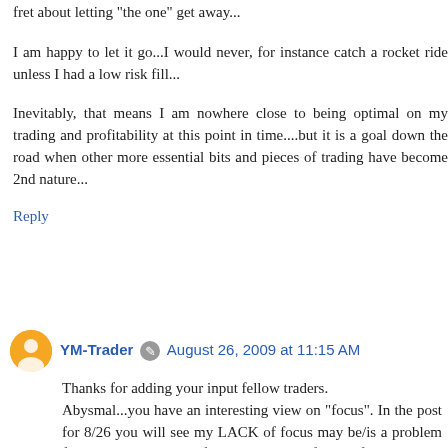fret about letting "the one" get away...
I am happy to let it go...I would never, for instance catch a rocket ride unless I had a low risk fill...
Inevitably, that means I am nowhere close to being optimal on my trading and profitability at this point in time....but it is a goal down the road when other more essential bits and pieces of trading have become 2nd nature...
Reply
YM-Trader August 26, 2009 at 11:15 AM
Thanks for adding your input fellow traders.
Abysmal...you have an interesting view on "focus". In the post for 8/26 you will see my LACK of focus may be/is a problem for me. Your addition of "Growth" is key for all of us.
De'Trader...congrats on the rocket ride. Is there a better feeling?
Sandy...You seem to be on the path. Not getting bummed by "missed" trades or anything else, is a key psychological